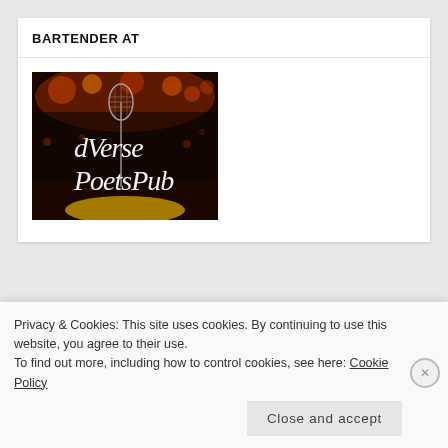BARTENDER AT
[Figure (logo): dVerse Poets Pub logo — dark background with vintage microphone and cursive text 'dVerse PoetsPub']
CONTRIBUTOR TO
[Figure (photo): Partially visible image, appears to show text and a golden object]
Privacy & Cookies: This site uses cookies. By continuing to use this website, you agree to their use.
To find out more, including how to control cookies, see here: Cookie Policy
Close and accept